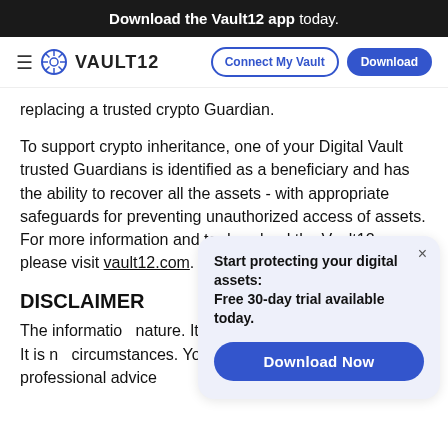Download the Vault12 app today.
VAULT12 | Connect My Vault | Download
replacing a trusted crypto Guardian.
To support crypto inheritance, one of your Digital Vault trusted Guardians is identified as a beneficiary and has the ability to recover all the assets - with appropriate safeguards for preventing unauthorized access of assets. For more information and to download the Vault12 app, please visit vault12.com.
DISCLAIMER
The information nature. It is int understanding to press. It is n circumstances. You should obtain specific professional advice
[Figure (infographic): Popup card with text 'Start protecting your digital assets: Free 30-day trial available today.' and a 'Download Now' button, with a close (×) button in the top right corner. Light blue/purple background.]